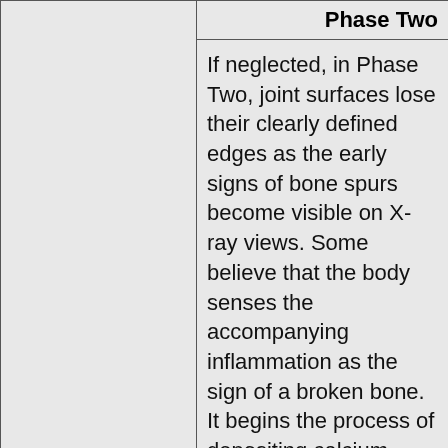|  | Phase Two |
| --- | --- |
|  | If neglected, in Phase Two, joint surfaces lose their clearly defined edges as the early signs of bone spurs become visible on X-ray views. Some believe that the body senses the accompanying inflammation as the sign of a broken bone. It begins the process of depositing calcium salts. Without being in a cast to prevent movement, fusion doesn't occur. |